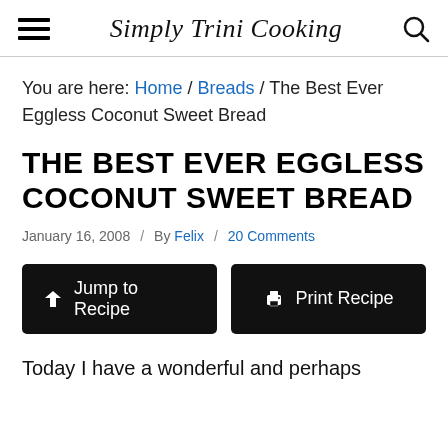Simply Trini Cooking
You are here: Home / Breads / The Best Ever Eggless Coconut Sweet Bread
THE BEST EVER EGGLESS COCONUT SWEET BREAD
January 16, 2008 / By Felix / 20 Comments
Jump to Recipe | Print Recipe
Today I have a wonderful and perhaps